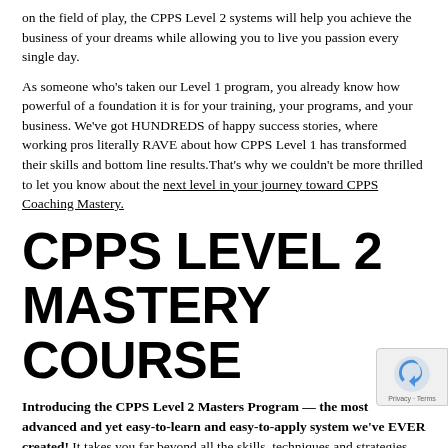on the field of play, the CPPS Level 2 systems will help you achieve the business of your dreams while allowing you to live you passion every single day.
As someone who’s taken our Level 1 program, you already know how powerful of a foundation it is for your training, your programs, and your business. We’ve got HUNDREDS of happy success stories, where working pros literally RAVE about how CPPS Level 1 has transformed their skills and bottom line results.That’s why we couldn’t be more thrilled to let you know about the next level in your journey toward CPPS Coaching Mastery.
CPPS LEVEL 2 MASTERY COURSE
Introducing the CPPS Level 2 Masters Program — the most advanced and yet easy-to-learn and easy-to-apply system we’ve EVER created! It takes you far beyond all the skills, techniques and strategies you got in level 1, helping you up your game and reduce your workload through greater automation. CPPS Level 2 is just that — the answer to how to advance your skills and build the business of your dreams, in the shortest time possible.
With all the new information, programs, systems and approaches out